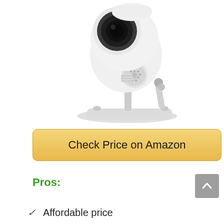[Figure (photo): A white PTZ (pan-tilt-zoom) security camera on a white adjustable mount/stand, photographed from a slight angle against a white background. The camera head faces left-upward and has a visible speaker grille on the body.]
Check Price on Amazon
Pros:
Affordable price